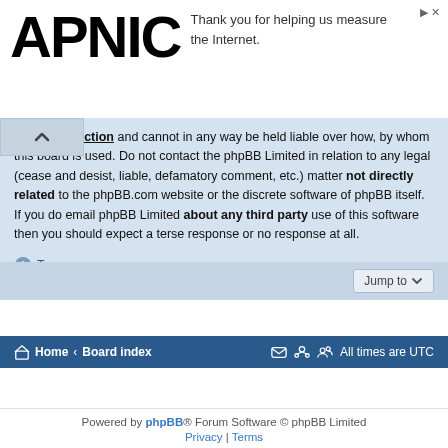[Figure (logo): APNIC logo in large bold black text with an advertisement overlay saying 'Thank you for helping us measure the Internet.']
...ly no jurisdiction and cannot in any way be held liable over how, by whom this board is used. Do not contact the phpBB Limited in relation to any legal (cease and desist, liable, defamatory comment, etc.) matter not directly related to the phpBB.com website or the discrete software of phpBB itself. If you do email phpBB Limited about any third party use of this software then you should expect a terse response or no response at all.
Top
How do I contact a board administrator?
All users of the board can use the “Contact us” form, if the option was enabled by the board administrator.
Members of the board can also use the “The team” link.
Top
Jump to
Home ‹ Board index   All times are UTC
Powered by phpBB® Forum Software © phpBB Limited
Privacy | Terms